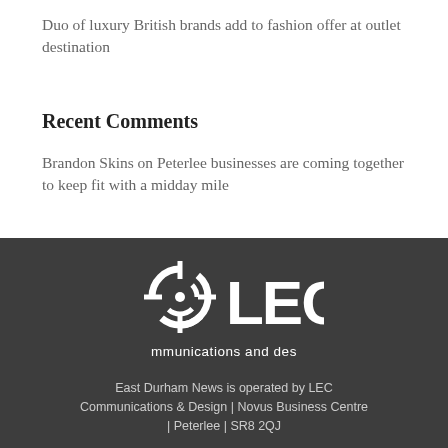Duo of luxury British brands add to fashion offer at outlet destination
Recent Comments
Brandon Skins on Peterlee businesses are coming together to keep fit with a midday mile
[Figure (logo): LEC logo — circular target/crosshair icon followed by LEC lettering in white on dark grey background, with tagline 'mmunications and des']
East Durham News is operated by LEC Communications & Design | Novus Business Centre | Peterlee | SR8 2QJ